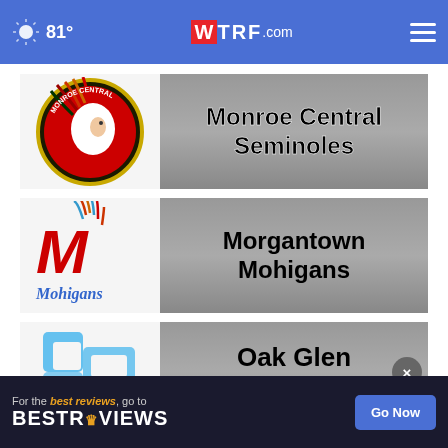81° WTRF.com
[Figure (logo): Monroe Central Seminoles team logo - circular emblem with Native American chief profile in red and black]
Monroe Central Seminoles
[Figure (logo): Morgantown Mohigans team logo - red letter M with Native American headdress and Mohigans script]
Morgantown Mohigans
[Figure (logo): Oak Glen Golden Bears team logo - blue interlocked letter G]
Oak Glen Golden Bears
For the best reviews, go to BESTREVIEWS Go Now